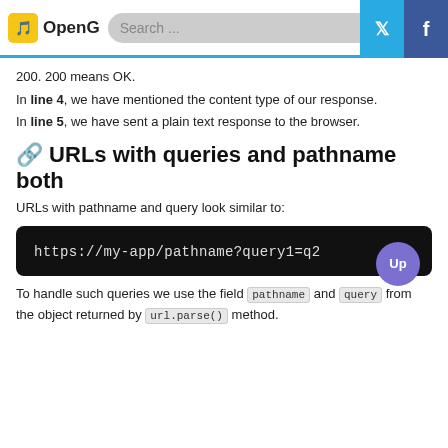OpenG [Search bar] [Twitter] [Facebook]
200. 200 means OK.
In line 4, we have mentioned the content type of our response.
In line 5, we have sent a plain text response to the browser.
🔗 URLs with queries and pathname both
URLs with pathname and query look similar to:
[Figure (screenshot): Dark code block showing: https://my-app/pathname?query1=q2]
To handle such queries we use the field pathname and query from the object returned by url.parse() method.